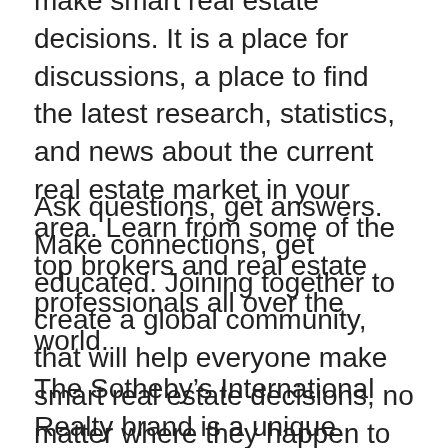make smart real estate decisions. It is a place for discussions, a place to find the latest research, statistics, and news about the current real estate market in your area. Learn from some of the top brokers and real estate professionals all over the world.
Ask questions, get answers. Make connections, get educated. Joining together to create a global community, that will help everyone make smart real estate decisions, no matter where they happen to be.
The Sotheby's International Realty brand is a unique luxury network of brokerage agencies offering a wide collection of luxury homes, estates and properties for sale throughout the world. With more than 670 offices and 13,000 sales associates across 49 countries and